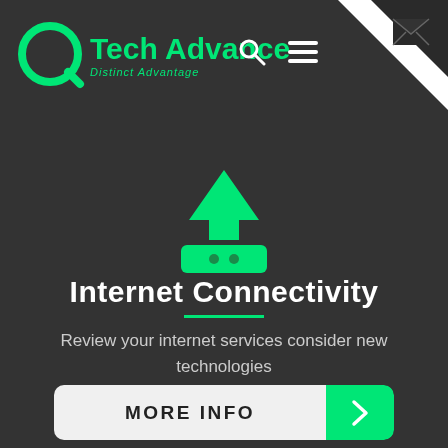[Figure (logo): Tech Advance logo with green circular icon and text 'Tech Advance' with tagline 'Distinct Advantage']
[Figure (illustration): Green upload/router icon with upward arrow above a flat base with two dots]
Internet Connectivity
Review your internet services consider new technologies
MORE INFO